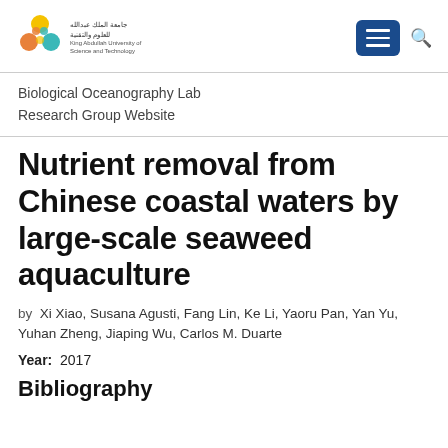Biological Oceanography Lab Research Group Website
Nutrient removal from Chinese coastal waters by large-scale seaweed aquaculture
by  Xi Xiao, Susana Agusti, Fang Lin, Ke Li, Yaoru Pan, Yan Yu, Yuhan Zheng, Jiaping Wu, Carlos M. Duarte
Year:  2017
Bibliography